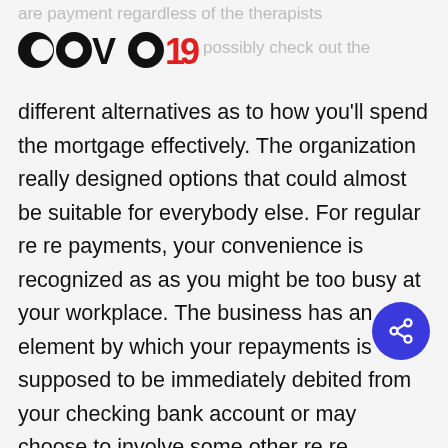are payment regardless of the therapists
[Figure (logo): COVO19 logo with stylized black and red text, where C and O letters appear as circular icons]
possibly check out the different alternatives as to how you'll spend the mortgage effectively. The organization really designed options that could almost be suitable for everybody else. For regular re re payments, your convenience is recognized as as you might be too busy at your workplace. The business has an element by which your repayments is supposed to be immediately debited from your checking bank account or may choose to involve some other re re payment plans. If you are not in a position to settle the re re payment in the specified deadline, you're liberated to contact the business's customer care. The client help